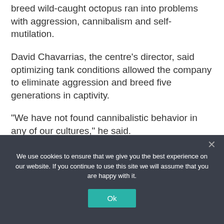breed wild-caught octopus ran into problems with aggression, cannibalism and self-mutilation.
David Chavarrias, the centre’s director, said optimizing tank conditions allowed the company to eliminate aggression and breed five generations in captivity.
“We have not found cannibalistic behavior in any of our cultures,” he said.
We use cookies to ensure that we give you the best experience on our website. If you continue to use this site we will assume that you are happy with it.